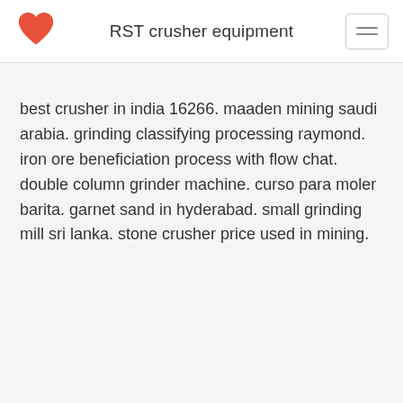RST crusher equipment
best crusher in india 16266. maaden mining saudi arabia. grinding classifying processing raymond. iron ore beneficiation process with flow chat. double column grinder machine. curso para moler barita. garnet sand in hyderabad. small grinding mill sri lanka. stone crusher price used in mining.